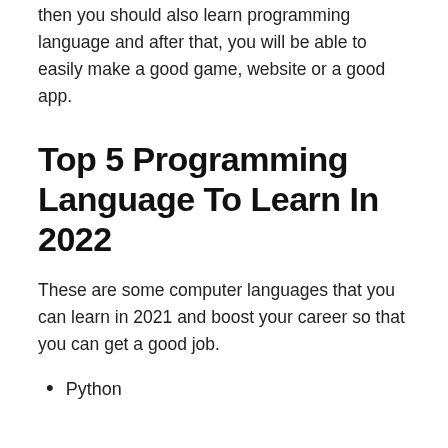then you should also learn programming language and after that, you will be able to easily make a good game, website or a good app.
Top 5 Programming Language To Learn In 2022
These are some computer languages that you can learn in 2021 and boost your career so that you can get a good job.
Python